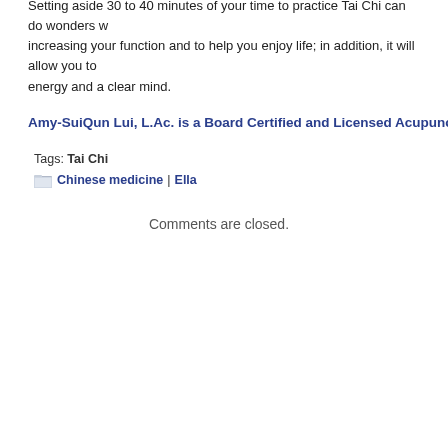Setting aside 30 to 40 minutes of your time to practice Tai Chi can do wonders w... increasing your function and to help you enjoy life; in addition, it will allow you to... energy and a clear mind.
Amy-SuiQun Lui, L.Ac. is a Board Certified and Licensed Acupuncturist i...
Tags: Tai Chi
Chinese medicine | Ella
Comments are closed.